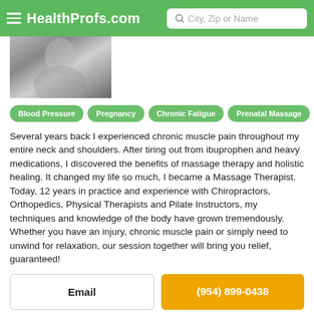HealthProfs.com | City, Zip or Name
[Figure (photo): Black and white photo of a person, partially visible, cropped at the top]
Blood Pressure
Pregnancy
Chronic Fatigue
Prenatal Massage
Several years back I experienced chronic muscle pain throughout my entire neck and shoulders. After tiring out from ibuprophen and heavy medications, I discovered the benefits of massage therapy and holistic healing. It changed my life so much, I became a Massage Therapist. Today, 12 years in practice and experience with Chiropractors, Orthopedics, Physical Therapists and Pilate Instructors, my techniques and knowledge of the body have grown tremendously. Whether you have an injury, chronic muscle pain or simply need to unwind for relaxation, our session together will bring you relief, guaranteed!
Email
(954) 899-0438